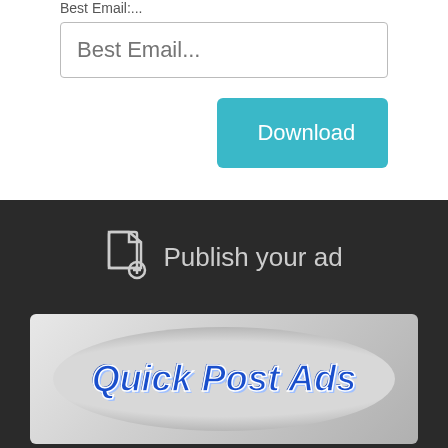Best Email:...
Best Email...
Download
Publish your ad
[Figure (logo): Quick Post Ads logo with blue bold italic text on a grey oval background with money/cash imagery]
Home   Contact